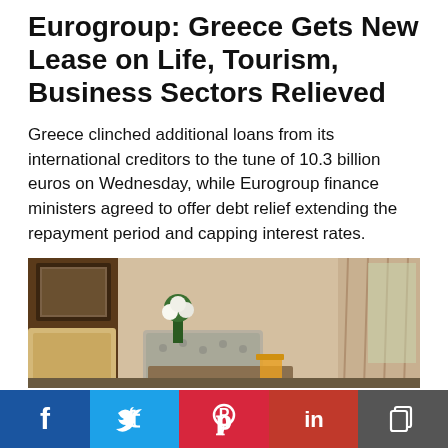Eurogroup: Greece Gets New Lease on Life, Tourism, Business Sectors Relieved
Greece clinched additional loans from its international creditors to the tune of 10.3 billion euros on Wednesday, while Eurogroup finance ministers agreed to offer debt relief extending the repayment period and capping interest rates.
Posted On 25 May 2016, By GTP editing team
[Figure (photo): A hotel room interior with a flower arrangement, lamp, armchair with patterned fabric, bed with pillow, and window with curtains letting in natural light.]